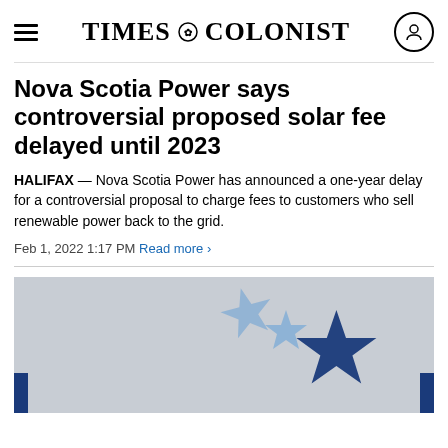TIMES COLONIST
Nova Scotia Power says controversial proposed solar fee delayed until 2023
HALIFAX — Nova Scotia Power has announced a one-year delay for a controversial proposal to charge fees to customers who sell renewable power back to the grid.
Feb 1, 2022 1:17 PM Read more >
[Figure (photo): Photo showing blue star-shaped decorative objects on a light grey background, with dark blue vertical bars at the bottom left and right edges]